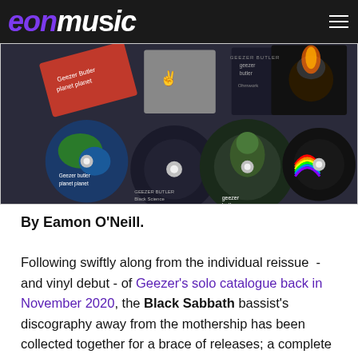eonmusic
[Figure (photo): Collection of Geezer Butler solo CDs and album artwork spread out, including Planet Planet and Black Science albums with CD discs visible]
By Eamon O'Neill.
Following swiftly along from the individual reissue  - and vinyl debut - of Geezer's solo catalogue back in November 2020, the Black Sabbath bassist's discography away from the mothership has been collected together for a brace of releases; a complete albums box set, and a best of collection.